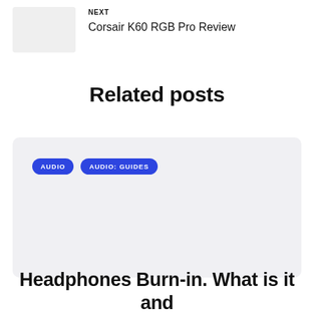NEXT
Corsair K60 RGB Pro Review
Related posts
[Figure (other): Related post card with blue category tags: AUDIO and AUDIO: GUIDES on a light gray background]
Headphones Burn-in. What is it and